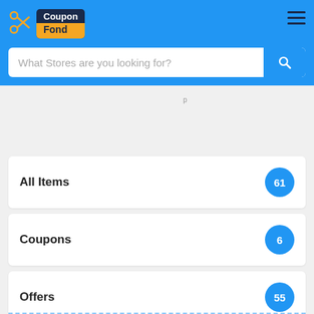CouponFond - What Stores are you looking for?
All Items 61
Coupons 6
Offers 55
Printable